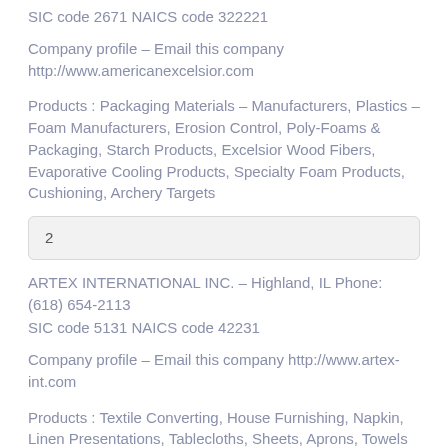SIC code 2671 NAICS code 322221
Company profile – Email this company http://www.americanexcelsior.com
Products : Packaging Materials – Manufacturers, Plastics – Foam Manufacturers, Erosion Control, Poly-Foams & Packaging, Starch Products, Excelsior Wood Fibers, Evaporative Cooling Products, Specialty Foam Products, Cushioning, Archery Targets
2
ARTEX INTERNATIONAL INC. – Highland, IL Phone: (618) 654-2113
SIC code 5131 NAICS code 42231
Company profile – Email this company http://www.artex-int.com
Products : Textile Converting, House Furnishing, Napkin, Linen Presentations, Tablecloths, Sheets, Aprons, Towels